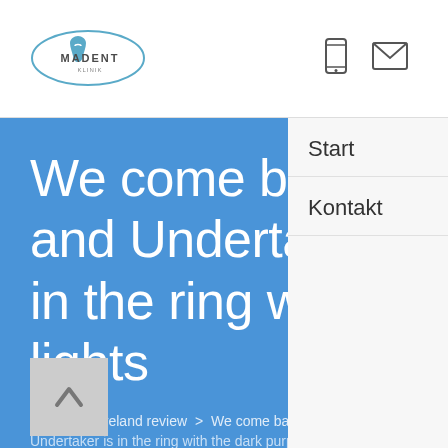[Figure (logo): Madent logo with tooth icon in oval shape]
[Figure (other): Phone icon and envelope/mail icon in header]
We come back from commercial and Undertaker in the ring with the dark purple lights
Start > cleveland review > We come back from commercial and Undertaker is in the ring with the dark purple lights
Start
Kontakt